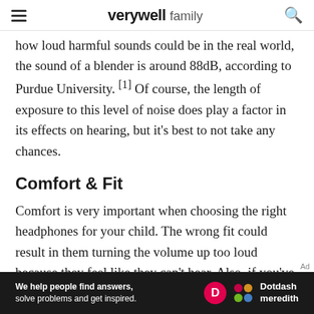verywell family
how loud harmful sounds could be in the real world, the sound of a blender is around 88dB, according to Purdue University.[1] Of course, the length of exposure to this level of noise does play a factor in its effects on hearing, but it's best to not take any chances.
Comfort & Fit
Comfort is very important when choosing the right headphones for your child. The wrong fit could result in them turning the volume up too loud because they feel like they can't hear. Also, if you've invested in headphones with volume
[Figure (other): Dotdash Meredith advertisement banner: 'We help people find answers, solve problems and get inspired.' with Dotdash Meredith logo.]